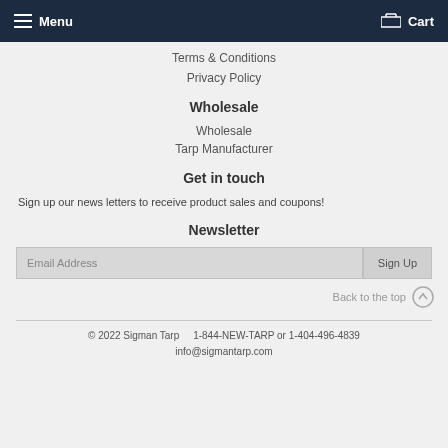Menu   Cart
Terms & Conditions
Privacy Policy
Wholesale
Wholesale
Tarp Manufacturer
Get in touch
Sign up our news letters to receive product sales and coupons!
Newsletter
Email Address   Sign Up
Back to the top
© 2022 Sigman Tarp   1-844-NEW-TARP or 1-404-496-4839   info@sigmantarp.com